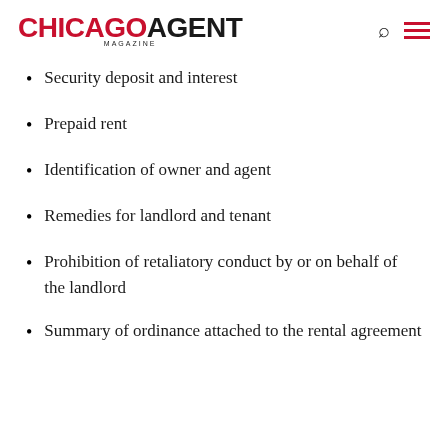CHICAGO AGENT MAGAZINE
Security deposit and interest
Prepaid rent
Identification of owner and agent
Remedies for landlord and tenant
Prohibition of retaliatory conduct by or on behalf of the landlord
Summary of ordinance attached to the rental agreement